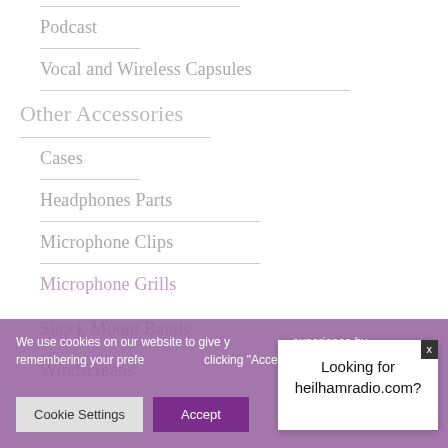Podcast
Vocal and Wireless Capsules
Other Accessories
Cases
Headphones Parts
Microphone Clips
Microphone Grills
Shock Mount Bands
Windscreens
We use cookies on our website to give you the best experience by remembering your preferences. By clicking “Accept”, you consent to the cookies.
Looking for heilhamradio.com?